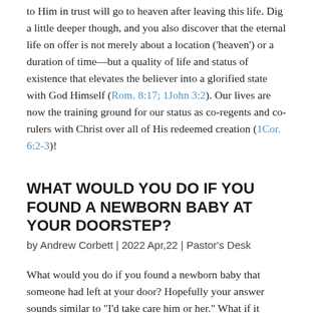to Him in trust will go to heaven after leaving this life. Dig a little deeper though, and you also discover that the eternal life on offer is not merely about a location ('heaven') or a duration of time—but a quality of life and status of existence that elevates the believer into a glorified state with God Himself (Rom. 8:17; 1John 3:2). Our lives are now the training ground for our status as co-regents and co-rulers with Christ over all of His redeemed creation (1Cor. 6:2-3)!
WHAT WOULD YOU DO IF YOU FOUND A NEWBORN BABY AT YOUR DOORSTEP?
by Andrew Corbett | 2022 Apr,22 | Pastor's Desk
What would you do if you found a newborn baby that someone had left at your door? Hopefully your answer sounds similar to "I'd take care him or her." What if it wasn't a baby? What if it was a young child